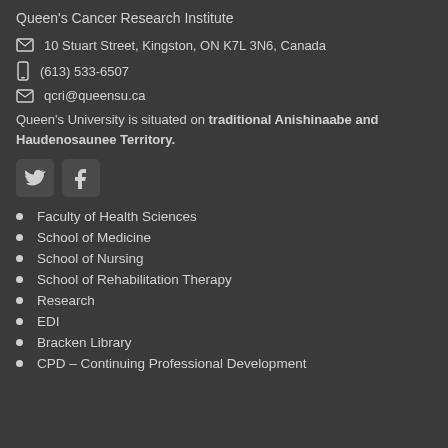Queen's Cancer Research Institute
10 Stuart Street, Kingston, ON K7L 3N6, Canada
(613) 533-6507
qcri@queensu.ca
Queen's University is situated on traditional Anishinaabe and Haudenosaunee Territory.
[Figure (logo): Twitter and Facebook social media icons]
Faculty of Health Sciences
School of Medicine
School of Nursing
School of Rehabilitation Therapy
Research
EDI
Bracken Library
CPD – Continuing Professional Development